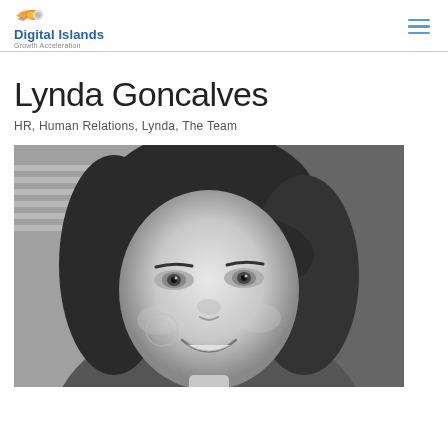Digital Islands Growth Acceleration
Lynda Goncalves
HR, Human Relations, Lynda, The Team
[Figure (photo): Black and white close-up portrait photo of Lynda Goncalves, a woman with bangs, smiling]